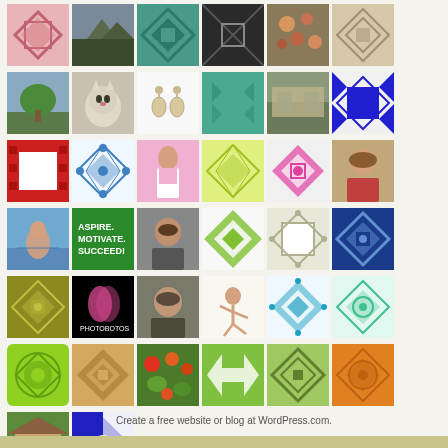[Figure (other): Grid of thumbnail avatar images and patterned icons arranged in 7 rows of 6 columns (last row has 2), showing photos and geometric quilt-style patterns in various colors]
Create a free website or blog at WordPress.com.